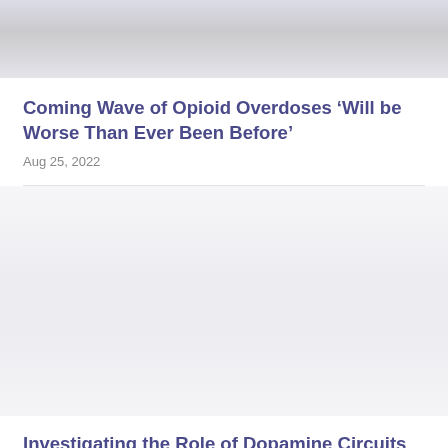[Figure (photo): Top portion of a photo, partially visible, appears to show pills or medical items with a light gray/blue tint]
Coming Wave of Opioid Overdoses ‘Will be Worse Than Ever Been Before’
Aug 25, 2022
[Figure (photo): Second article image, mostly white/light gray, details not visible]
Investigating the Role of Dopamine Circuits in Habit Formation